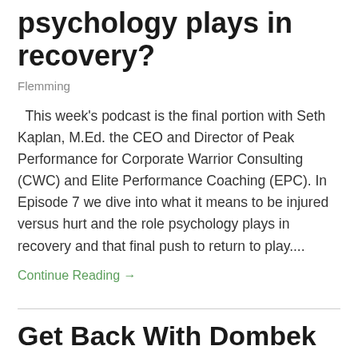psychology plays in recovery?
Flemming
This week's podcast is the final portion with Seth Kaplan, M.Ed. the CEO and Director of Peak Performance for Corporate Warrior Consulting (CWC) and Elite Performance Coaching (EPC). In Episode 7 we dive into what it means to be injured versus hurt and the role psychology plays in recovery and that final push to return to play....
Continue Reading →
Get Back With Dombek